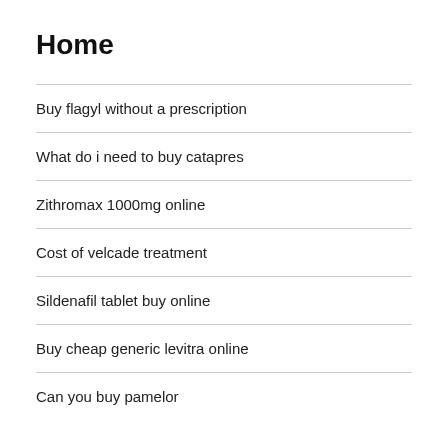Home
Buy flagyl without a prescription
What do i need to buy catapres
Zithromax 1000mg online
Cost of velcade treatment
Sildenafil tablet buy online
Buy cheap generic levitra online
Can you buy pamelor